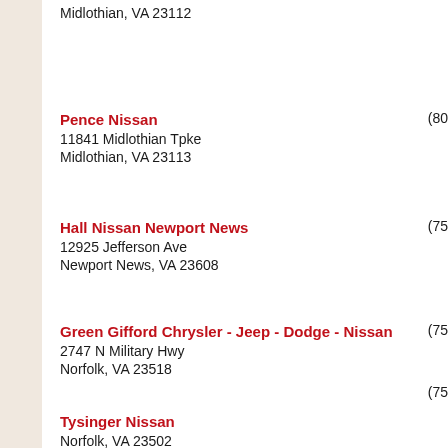Midlothian, VA 23112
Pence Nissan
11841 Midlothian Tpke
Midlothian, VA 23113
(80…
Hall Nissan Newport News
12925 Jefferson Ave
Newport News, VA 23608
(75…
Green Gifford Chrysler - Jeep - Dodge - Nissan
2747 N Military Hwy
Norfolk, VA 23518
(75…
Tysinger Nissan
Norfolk, VA 23502
(75…